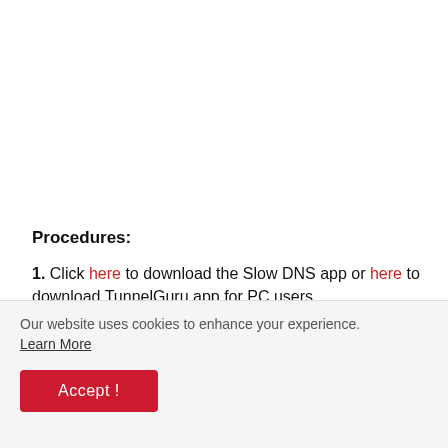Procedures:
1. Click here to download the Slow DNS app or here to download TunnelGuru app for PC users
2. Install and open the app.
Our website uses cookies to enhance your experience. Learn More
Accept !